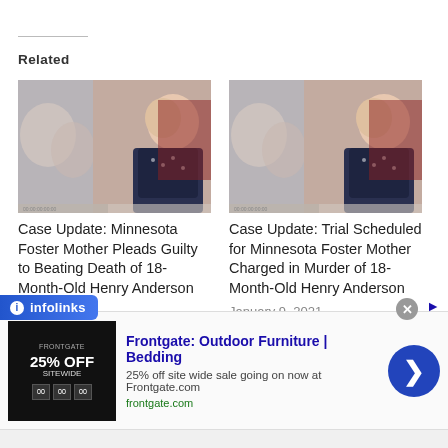Related
[Figure (photo): Baby photo collage used as thumbnail for case update article — Minnesota Foster Mother Pleads Guilty]
Case Update: Minnesota Foster Mother Pleads Guilty to Beating Death of 18-Month-Old Henry Anderson
May 4, 2021
In "Deaths"
[Figure (photo): Baby photo collage used as thumbnail for case update article — Trial Scheduled for Minnesota Foster Mother]
Case Update: Trial Scheduled for Minnesota Foster Mother Charged in Murder of 18-Month-Old Henry Anderson
January 9, 2021
In "Deaths"
[Figure (other): infolinks badge overlay at bottom left]
Frontgate: Outdoor Furniture | Bedding
25% off site wide sale going on now at Frontgate.com
frontgate.com